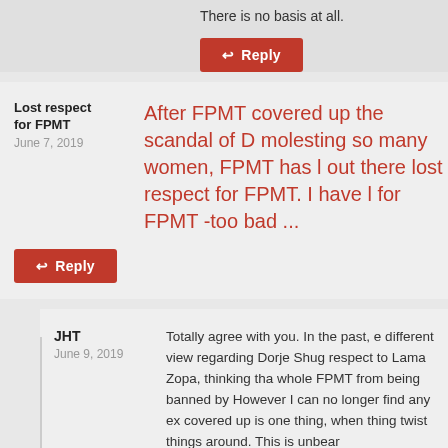There is no basis at all.
Reply
Lost respect for FPMT
June 7, 2019
After FPMT covered up the scandal of D molesting so many women, FPMT has l out there lost respect for FPMT. I have l for FPMT -too bad ...
Reply
JHT
June 9, 2019
Totally agree with you. In the past, e different view regarding Dorje Shug respect to Lama Zopa, thinking tha whole FPMT from being banned by However I can no longer find any ex covered up is one thing, when thing twist things around. This is unbear
Reply